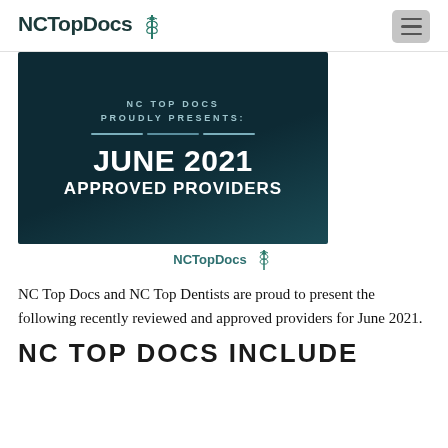NCTopDocs
[Figure (illustration): Dark teal banner with text: NC TOP DOCS PROUDLY PRESENTS: JUNE 2021 APPROVED PROVIDERS, with decorative divider lines and NCTopDocs logo below]
NCTopDocs
NC Top Docs and NC Top Dentists are proud to present the following recently reviewed and approved providers for June 2021.
NC TOP DOCS INCLUDE